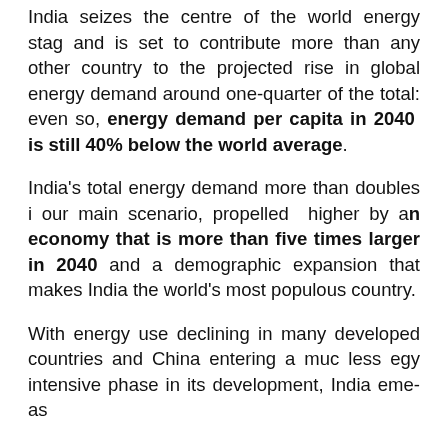India seizes the centre of the world energy stage and is set to contribute more than any other country to the projected rise in global energy demand around one-quarter of the total: even so, energy demand per capita in 2040 is still 40% below the world average.
India's total energy demand more than doubles in our main scenario, propelled higher by an economy that is more than five times larger in 2040 and a demographic expansion that makes India the world's most populous country.
With energy use declining in many developed countries and China entering a much less energy intensive phase in its development, India emerges as